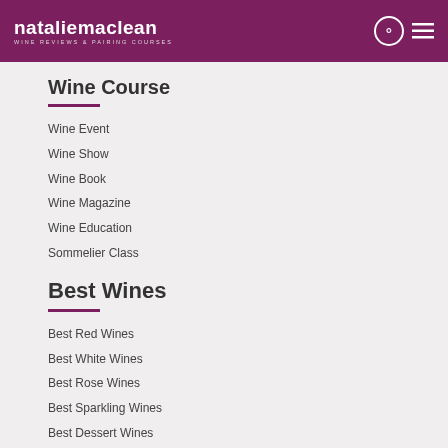nataliemaclean WINE REVIEWS & PAIRING COURSES
Wine Course
Wine Event
Wine Show
Wine Book
Wine Magazine
Wine Education
Sommelier Class
Best Wines
Best Red Wines
Best White Wines
Best Rose Wines
Best Sparkling Wines
Best Dessert Wines